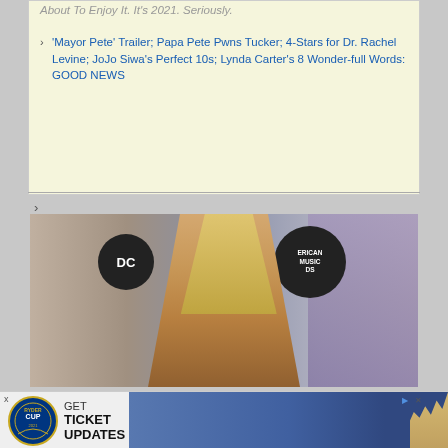About To Enjoy It. It's 2021. Seriously.
'Mayor Pete' Trailer; Papa Pete Pwns Tucker; 4-Stars for Dr. Rachel Levine; JoJo Siwa's Perfect 10s; Lynda Carter's 8 Wonder-full Words: GOOD NEWS
[Figure (photo): A woman with long blonde hair wearing a tan/camel blazer at what appears to be the American Music Awards (AMAs) event with ABC signage visible in the background.]
'A Completely Different Ballroom': Tyra Banks & Alfonso Ribeiro Tease New Season Of 'DWTS'
[Figure (photo): Advertisement banner for Ryder Cup showing logo, text GET TICKET UPDATES, photo of golfers, and Colosseum image.]